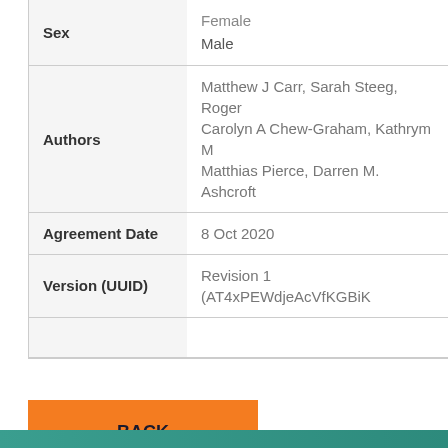| Field | Value |
| --- | --- |
| Sex | Female
Male |
| Authors | Matthew J Carr, Sarah Steeg, Roger
Carolyn A Chew-Graham, Kathrym M
Matthias Pierce, Darren M. Ashcroft |
| Agreement Date | 8 Oct 2020 |
| Version (UUID) | Revision 1 (AT4xPEWdjeAcVfKGBiK |
|  |  |
BACK